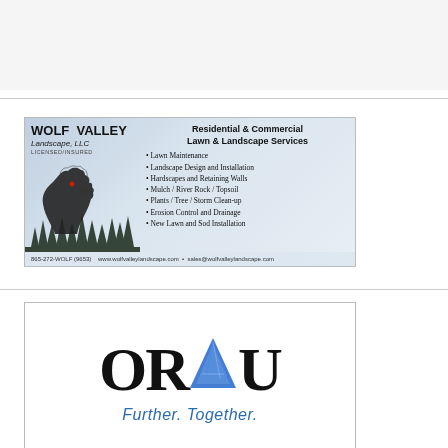[Figure (illustration): Wolf Valley Landscape LLC advertisement banner. Shows a howling wolf silhouette against blue-grey background with trees. Text includes company name, services list (Lawn Maintenance, Landscape Design and Installation, Hardscapes and Retaining Walls, Mulch/River Rock/Topsoil, Plants/Tree/Storm Clean-up, Erosion Control and Drainage, New Lawn and Sod Installation), phone 865-272-WOLF (9653), website www.wolfvalleylandscape.com, email sales@wolfvalleylandscape.com]
[Figure (logo): ORAU logo advertisement with blue triangle/crystal logo mark integrated into the letter A. Text reads 'ORAU' in large serif black font and 'Further. Together.' in blue italic below. Bottom portion shows partial photo of person wearing protective equipment/helmet.]